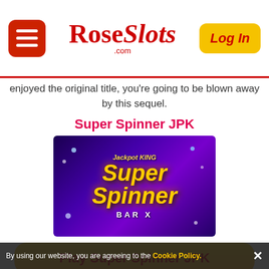RoseSlots.com — Log In
enjoyed the original title, you're going to be blown away by this sequel.
Super Spinner JPK
[Figure (screenshot): Super Spinner Bar X game logo on purple/blue sparkle background with golden text reading 'Super Spinner BAR X' and 'Jackpot King' crown logo at top]
Play Super Spinner JPK
Super Spinner Bar X has plenty to offer in the main mode of play and through Blueprint's progressive jackpot network. The only bonus feature on offer here is a multiplier feature which will heavily boost your wins if
By using our website, you are agreeing to the Cookie Policy. ✕